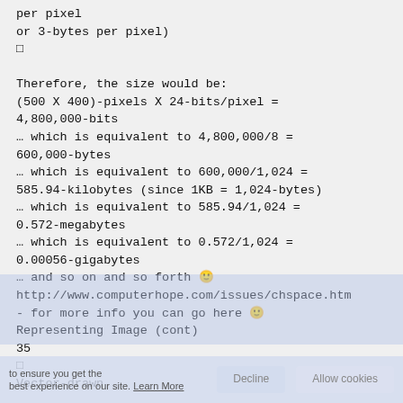per pixel
or 3-bytes per pixel)
□
Therefore, the size would be:
(500 X 400)-pixels X 24-bits/pixel =
4,800,000-bits
… which is equivalent to 4,800,000/8 =
600,000-bytes
… which is equivalent to 600,000/1,024 =
585.94-kilobytes (since 1KB = 1,024-bytes)
… which is equivalent to 585.94/1,024 =
0.572-megabytes
… which is equivalent to 0.572/1,024 =
0.00056-gigabytes
… and so on and so forth 🙂
http://www.computerhope.com/issues/chspace.htm
- for more info you can go here 🙂
Representing Image (cont)
35
□
Vector-drawn